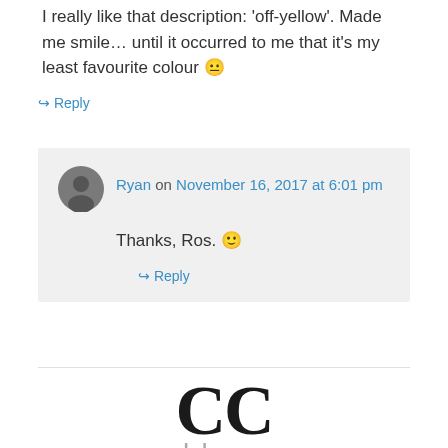I really like that description: 'off-yellow'. Made me smile… until it occurred to me that it's my least favourite colour 😐
↳ Reply
Ryan on November 16, 2017 at 6:01 pm
Thanks, Ros. 🙂
↳ Reply
[Figure (logo): CC blogs logo with large bold 'CC' letters in black and 'blogs' in grey below, with subtitle 'A network hosted by']